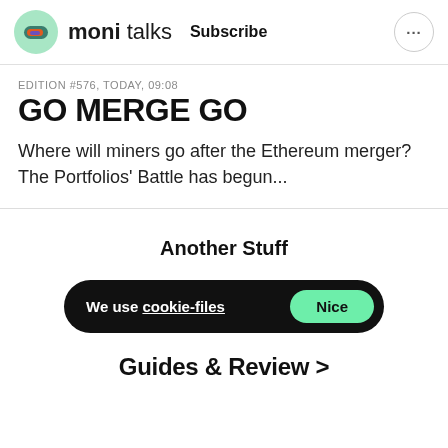moni talks  Subscribe  ...
EDITION #576, TODAY, 09:08
GO MERGE GO
Where will miners go after the Ethereum merger? The Portfolios' Battle has begun...
Another Stuff
We use cookie-files  Nice
Guides & Review >